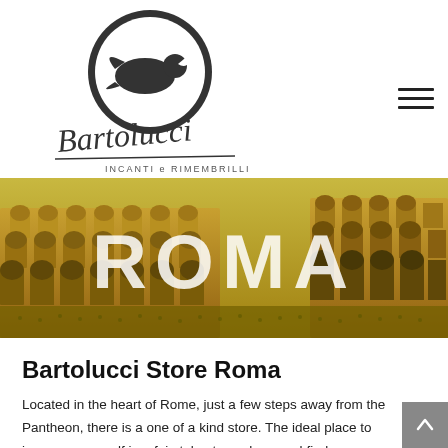[Figure (logo): Bartolucci circular logo with bird/figure silhouette, script text 'Bartolucci' and 'INCANTI e RIMEMBRILLI' below]
[Figure (photo): Wide banner photo of the Colosseum in Rome with large white text 'ROMA' overlaid on a yellow-tinted image]
Bartolucci Store Roma
Located in the heart of Rome, just a few steps away from the Pantheon, there is a one of a kind store. The ideal place to immerse yourself in a fairytale atmosphere and find a